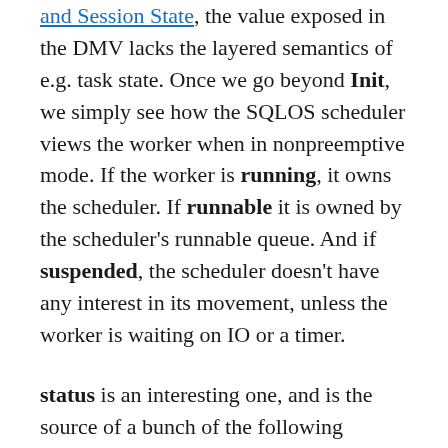and Session State, the value exposed in the DMV lacks the layered semantics of e.g. task state. Once we go beyond Init, we simply see how the SQLOS scheduler views the worker when in nonpreemptive mode. If the worker is running, it owns the scheduler. If runnable it is owned by the scheduler's runnable queue. And if suspended, the scheduler doesn't have any interest in its movement, unless the worker is waiting on IO or a timer.
status is an interesting one, and is the source of a bunch of the following is_xxx flags, which break out its individual bits.
Here is the 0-based bit mapping of the flags exposed in the DMV, along with the flags that I